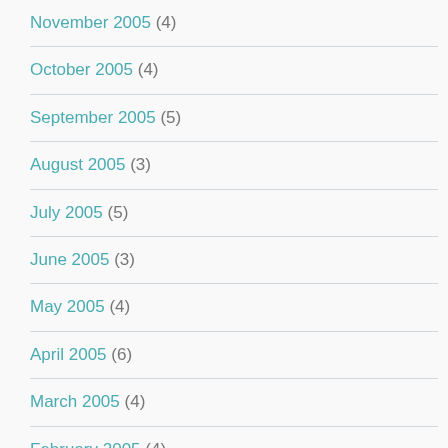November 2005 (4)
October 2005 (4)
September 2005 (5)
August 2005 (3)
July 2005 (5)
June 2005 (3)
May 2005 (4)
April 2005 (6)
March 2005 (4)
February 2005 (4)